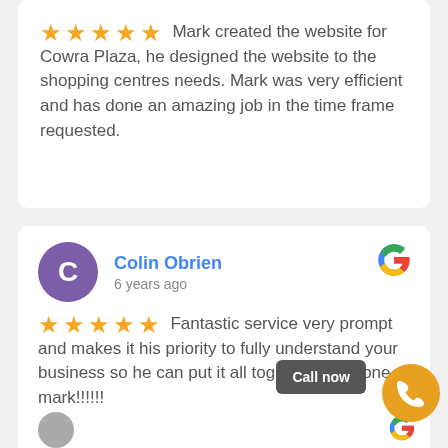Mark created the website for Cowra Plaza, he designed the website to the shopping centres needs. Mark was very efficient and has done an amazing job in the time frame requested.
Colin Obrien
6 years ago
Fantastic service very prompt and makes it his priority to fully understand your business so he can put it all together well done mark!!!!!!